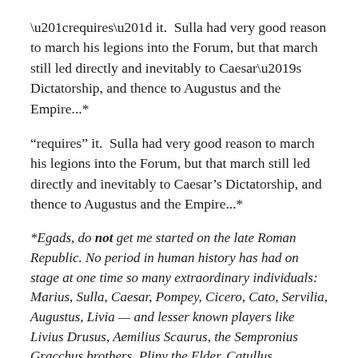“requires” it.  Sulla had very good reason to march his legions into the Forum, but that march still led directly and inevitably to Caesar’s Dictatorship, and thence to Augustus and the Empire...*
*Egads, do not get me started on the late Roman Republic. No period in human history has had on stage at one time so many extraordinary individuals: Marius, Sulla, Caesar, Pompey, Cicero, Cato, Servilia, Augustus, Livia — and lesser known players like Livius Drusus, Aemilius Scaurus, the Sempronius Gracchus brothers, Pliny the Elder, Catullus, Sallust…  Good Lord, I said don’t get me started! I could go on and on (and on and on and on…).
If the Federal knock on the door is acceptable and necessary now, will the same adjective’s apply when that all-encompassing knock is used again in five years